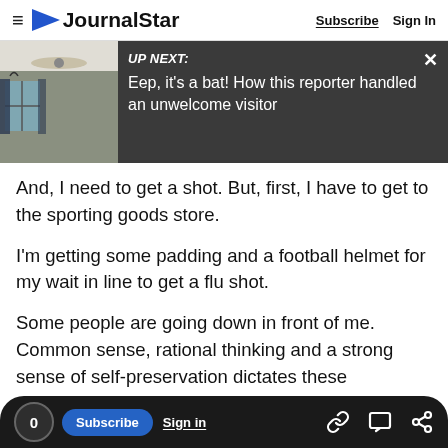≡ JournalStar  Subscribe  Sign In
[Figure (screenshot): UP NEXT banner with room photo thumbnail and text: Eep, it's a bat! How this reporter handled an unwelcome visitor]
And, I need to get a shot. But, first, I have to get to the sporting goods store.
I'm getting some padding and a football helmet for my wait in line to get a flu shot.
Some people are going down in front of me. Common sense, rational thinking and a strong sense of self-preservation dictates these measures.
0  Subscribe  Sign in  [link icon] [comment icon] [share icon]